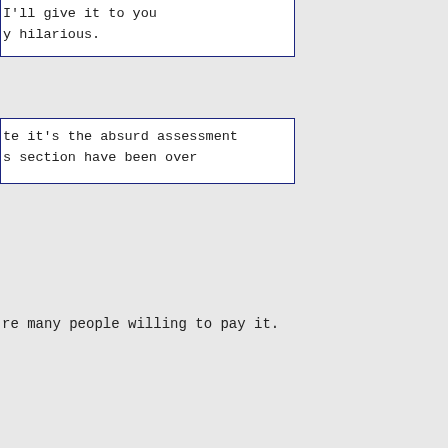I'll give it to you
y hilarious.
te it's the absurd assessment
s section have been over
re many people willing to pay it.
Posted on: 2018/6/2 1:06
#689
a valuation of $2.5mm. Take that
tax rate (I forget the exact,
you'd pay $55061. So, yes, that
ve it to you though; at least